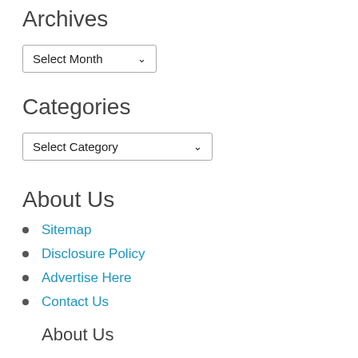Archives
[Figure (screenshot): Dropdown widget labeled 'Select Month' with a down arrow]
Categories
[Figure (screenshot): Dropdown widget labeled 'Select Category' with a down arrow]
About Us
Sitemap
Disclosure Policy
Advertise Here
Contact Us
About Us
Sitemap
Disclosure Policy